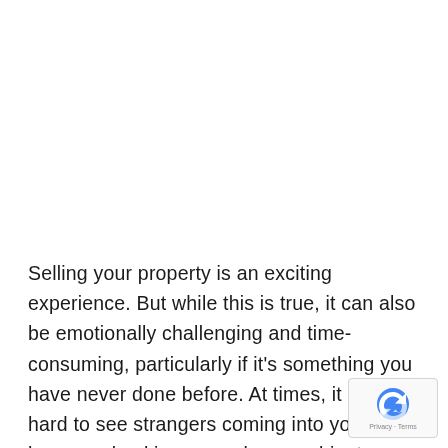Selling your property is an exciting experience. But while this is true, it can also be emotionally challenging and time-consuming, particularly if it's something you have never done before. At times, it can be hard to see strangers coming into your home and poking around your cabinets or closets. They will also usually find places to criticize that probably mean more to you, or worse – they may even offer money less